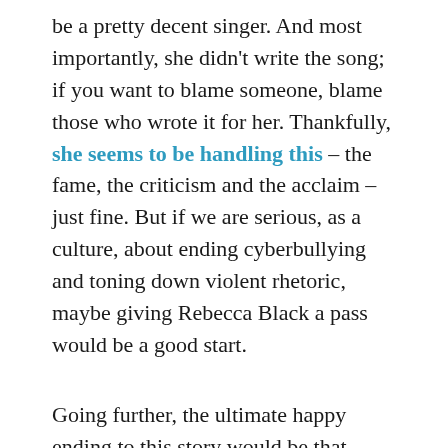be a pretty decent singer. And most importantly, she didn't write the song; if you want to blame someone, blame those who wrote it for her. Thankfully, she seems to be handling this – the fame, the criticism and the acclaim – just fine. But if we are serious, as a culture, about ending cyberbullying and toning down violent rhetoric, maybe giving Rebecca Black a pass would be a good start.
Going further, the ultimate happy ending to this story would be that maybe, just maybe, we learn not to be so quick to be vicious, mean or snide, but maybe be more